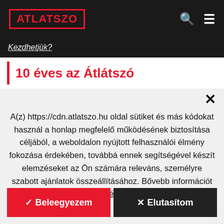ATLATSZO
Kezdhetjük?
10 éves az Átlátszó
A(z) https://cdn.atlatszo.hu oldal sütiket és más kódokat használ a honlap megfelelő működésének biztosítása céljából, a weboldalon nyújtott felhasználói élmény fokozása érdekében, továbbá ennek segítségével készít elemzéseket az Ön számára releváns, személyre szabott ajánlatok összeállításához. Bővebb információt az adatkezelési tájékoztatónkban talál.
✓ Beleegyezem
✕ Elutasítom